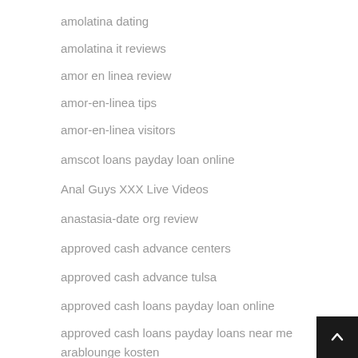amolatina dating
amolatina it reviews
amor en linea review
amor-en-linea tips
amor-en-linea visitors
amscot loans payday loan online
Anal Guys XXX Live Videos
anastasia-date org review
approved cash advance centers
approved cash advance tulsa
approved cash loans payday loan online
approved cash loans payday loans near me
arablounge kosten